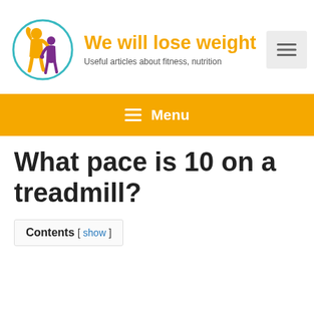[Figure (logo): Circular logo with orange muscular figure and purple woman figure inside a teal circle border, for 'We will lose weight' website]
We will lose weight
Useful articles about fitness, nutrition
[Figure (other): Hamburger menu icon in a light gray box]
☰ Menu
What pace is 10 on a treadmill?
Contents [ show ]